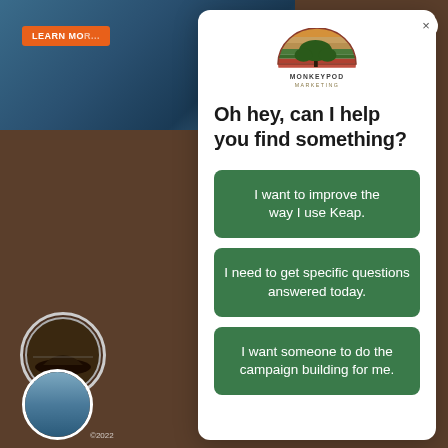[Figure (screenshot): Background showing a webpage with ocean photo at top, orange 'LEARN MORE' button, and brown/dark area below with circular graphic and person photo]
[Figure (logo): Monkeypod Marketing logo: semicircle with horizontal stripes in orange, tan, green, red, and a green tree silhouette in front. Text: MONKEYPOD MARKETING]
Oh hey, can I help you find something?
I want to improve the way I use Keap.
I need to get specific questions answered today.
I want someone to do the campaign building for me.